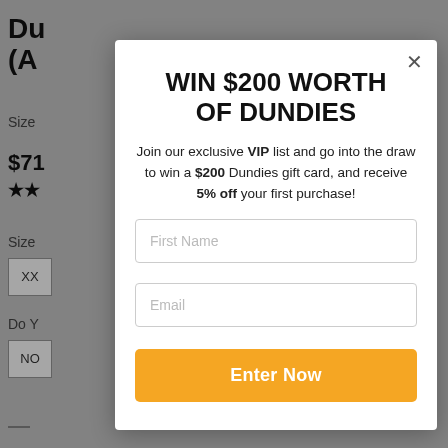WIN $200 WORTH OF DUNDIES
Join our exclusive VIP list and go into the draw to win a $200 Dundies gift card, and receive 5% off your first purchase!
First Name
Email
Enter Now